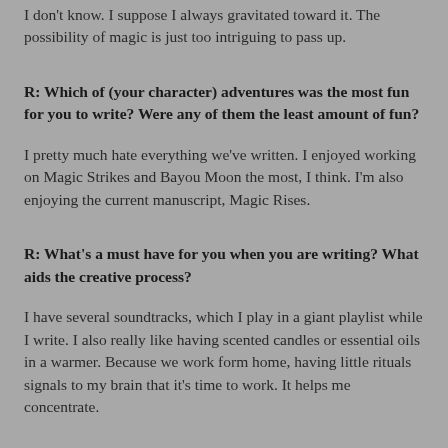I don't know.  I suppose I always gravitated toward it.  The possibility of magic is just too intriguing to pass up.
R: Which of (your character) adventures was the most fun for you to write? Were any of them the least amount of fun?
I pretty much hate everything we've written.  I enjoyed working on Magic Strikes and Bayou Moon the most, I think.  I'm also enjoying the current manuscript, Magic Rises.
R: What's a must have for you when you are writing? What aids the creative process?
I have several soundtracks, which I play in a giant playlist while I write.  I also really like having scented candles or essential oils in a warmer.  Because we work form home, having little rituals signals to my brain that it's time to work.  It helps me concentrate.
R: If you had access to a time machine, which historical